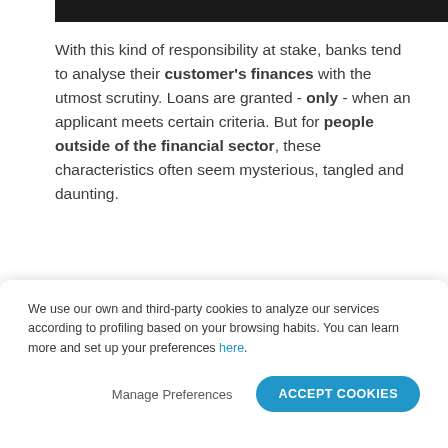With this kind of responsibility at stake, banks tend to analyse their customer's finances with the utmost scrutiny. Loans are granted - only - when an applicant meets certain criteria. But for people outside of the financial sector, these characteristics often seem mysterious, tangled and daunting.
We were interested in finding the
We use our own and third-party cookies to analyze our services according to profiling based on your browsing habits. You can learn more and set up your preferences here.